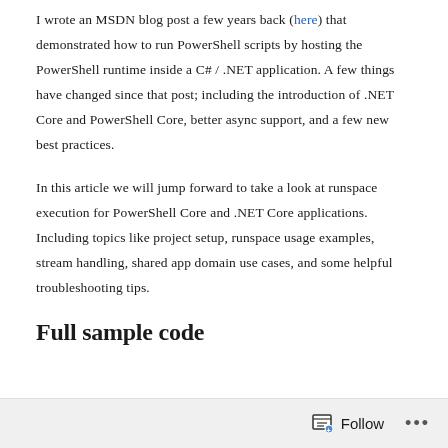I wrote an MSDN blog post a few years back (here) that demonstrated how to run PowerShell scripts by hosting the PowerShell runtime inside a C# / .NET application. A few things have changed since that post; including the introduction of .NET Core and PowerShell Core, better async support, and a few new best practices.
In this article we will jump forward to take a look at runspace execution for PowerShell Core and .NET Core applications. Including topics like project setup, runspace usage examples, stream handling, shared app domain use cases, and some helpful troubleshooting tips.
Full sample code
Follow ···